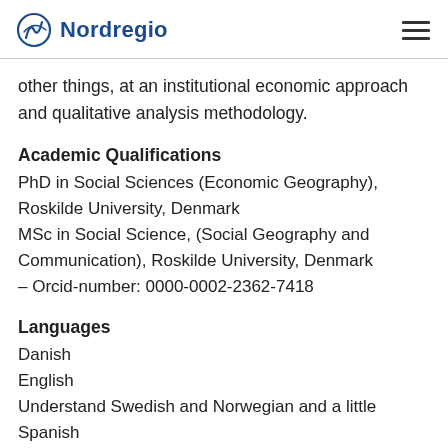Nordregio
other things, at an institutional economic approach and qualitative analysis methodology.
Academic Qualifications
PhD in Social Sciences (Economic Geography), Roskilde University, Denmark
MSc in Social Science, (Social Geography and Communication), Roskilde University, Denmark
– Orcid-number: 0000-0002-2362-7418
Languages
Danish
English
Understand Swedish and Norwegian and a little Spanish